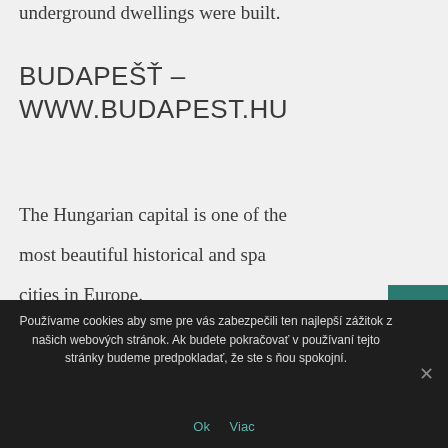underground dwellings were built.
BUDAPEŠŤ – WWW.BUDAPEST.HU
The Hungarian capital is one of the most beautiful historical and spa cities in Europe.
Používame cookies aby sme pre vás zabezpečili ten najlepší zážitok z našich webových stránok. Ak budete pokračovať v používaní tejto stránky budeme predpokladať, že ste s ňou spokojní.
Ok   Viac